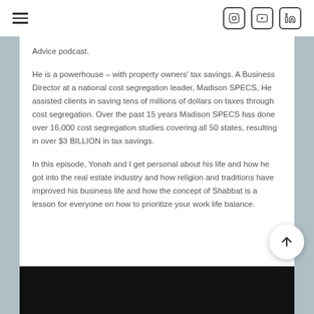Navigation bar with hamburger menu and social icons (Instagram, YouTube, LinkedIn)
Advice podcast.
He is a powerhouse – with property owners' tax savings. A Business Director at a national cost segregation leader, Madison SPECS, He assisted clients in saving tens of millions of dollars on taxes through cost segregation. Over the past 15 years Madison SPECS has done over 16,000 cost segregation studies covering all 50 states, resulting in over $3 BILLION in tax savings.
In this episode, Yonah and I get personal about his life and how he got into the real estate industry and how religion and traditions have improved his business life and how the concept of Shabbat is a lesson for everyone on how to prioritize your work life balance.
[Figure (screenshot): Black video thumbnail at the bottom of the page]